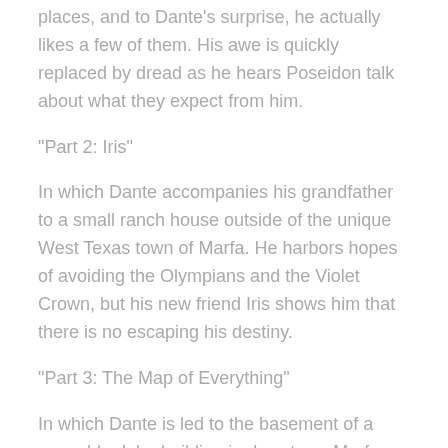places, and to Dante's surprise, he actually likes a few of them. His awe is quickly replaced by dread as he hears Poseidon talk about what they expect from him.
"Part 2: Iris"
In which Dante accompanies his grandfather to a small ranch house outside of the unique West Texas town of Marfa. He harbors hopes of avoiding the Olympians and the Violet Crown, but his new friend Iris shows him that there is no escaping his destiny.
"Part 3: The Map of Everything"
In which Dante is led to the basement of a very old adobe building in downtown Marfa where his friend Iris shows him a map of — literally — everything. He is able to track the powers of not only Zeus, but all the gods, goddesses, and monsters across several epochs — ancient India, China, Babylonia, and Egypt — and Dante sees how everything seems to be pointing to him and his friends.